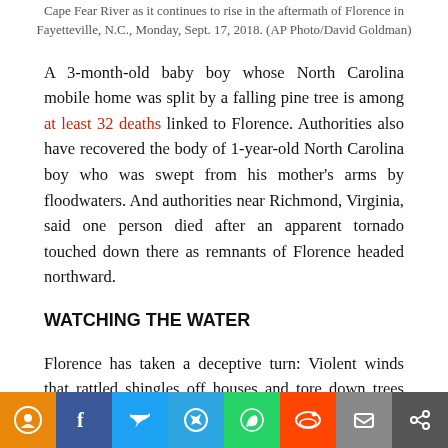Cape Fear River as it continues to rise in the aftermath of Florence in Fayetteville, N.C., Monday, Sept. 17, 2018. (AP Photo/David Goldman)
A 3-month-old baby boy whose North Carolina mobile home was split by a falling pine tree is among at least 32 deaths linked to Florence. Authorities also have recovered the body of 1-year-old North Carolina boy who was swept from his mother's arms by floodwaters. And authorities near Richmond, Virginia, said one person died after an apparent tornado touched down there as remnants of Florence headed northward.
WATCHING THE WATER
Florence has taken a deceptive turn: Violent winds that rattled shingles off houses and tore down trees subsided and its path...
[Figure (other): Social media share bar with icons for location/news, Facebook, Twitter, Telegram, WhatsApp, Reddit, email, and share]